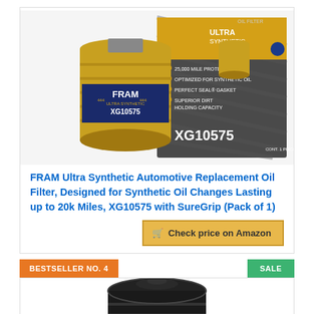[Figure (photo): FRAM Ultra Synthetic oil filter XG10575 product photo showing the gold oil filter and its packaging box]
FRAM Ultra Synthetic Automotive Replacement Oil Filter, Designed for Synthetic Oil Changes Lasting up to 20k Miles, XG10575 with SureGrip (Pack of 1)
Check price on Amazon
BESTSELLER NO. 4
SALE
[Figure (photo): Black oil filter product photo, partially visible at bottom of page]